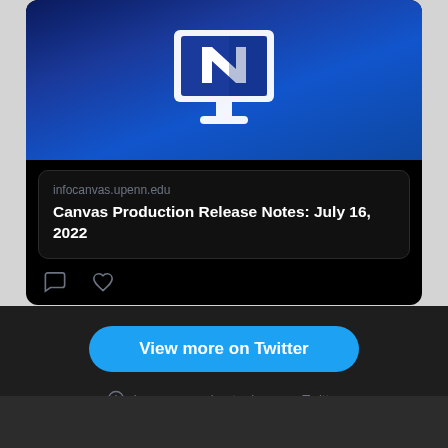[Figure (screenshot): Twitter/social media card showing a blue background with a white computer monitor icon and Canvas logo]
infocanvas.upenn.edu
Canvas Production Release Notes: July 16, 2022
View more on Twitter
Learn more about privacy on Twitter